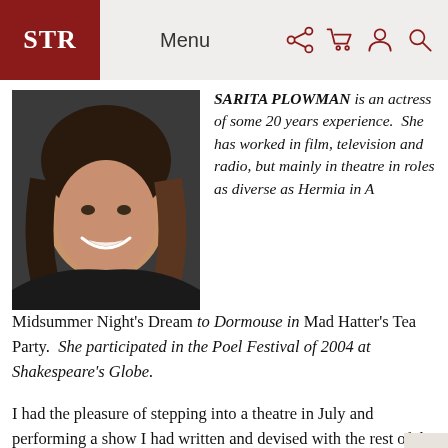STR | Menu
[Figure (photo): Headshot of Sarita Plowman, a smiling woman with dark hair and bangs against a dark background.]
SARITA PLOWMAN is an actress of some 20 years experience. She has worked in film, television and radio, but mainly in theatre in roles as diverse as Hermia in A Midsummer Night's Dream to Dormouse in Mad Hatter's Tea Party. She participated in the Poel Festival of 2004 at Shakespeare's Globe.
I had the pleasure of stepping into a theatre in July and performing a show I had written and devised with the rest of the cast and performing to a sold 6000(!) school children and their...